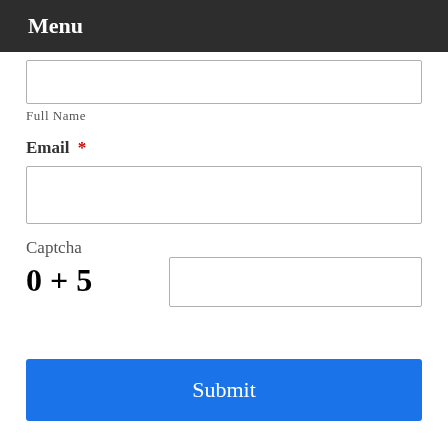Menu
Full Name
Email *
Captcha
0 + 5
Submit